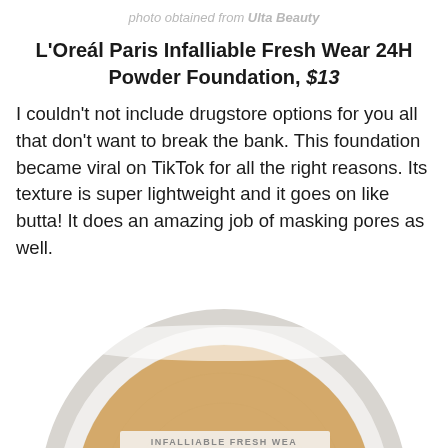photo obtained from Ulta Beauty
L'Oreál Paris Infalliable Fresh Wear 24H Powder Foundation, $13
I couldn't not include drugstore options for you all that don't want to break the bank. This foundation became viral on TikTok for all the right reasons. Its texture is super lightweight and it goes on like butta! It does an amazing job of masking pores as well.
[Figure (photo): Close-up of a round powder foundation compact with a beige/tan powder surface visible, partially cropped at bottom of page. Product is L'Oreal Paris Infalliable Fresh Wear 24H Powder Foundation.]